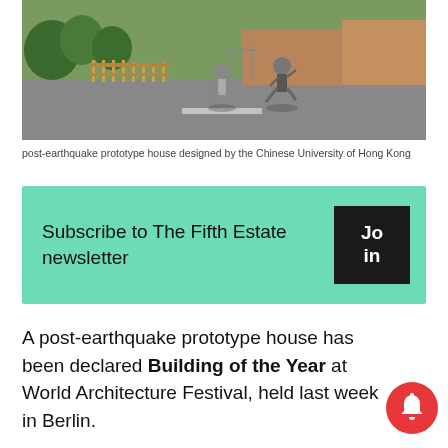[Figure (photo): Two people running on a road with trees and a wooden fence in the background, near a brick building. Outdoor scene, sunny day.]
post-earthquake prototype house designed by the Chinese University of Hong Kong
Subscribe to The Fifth Estate newsletter
A post-earthquake prototype house has been declared Building of the Year at World Architecture Festival, held last week in Berlin.